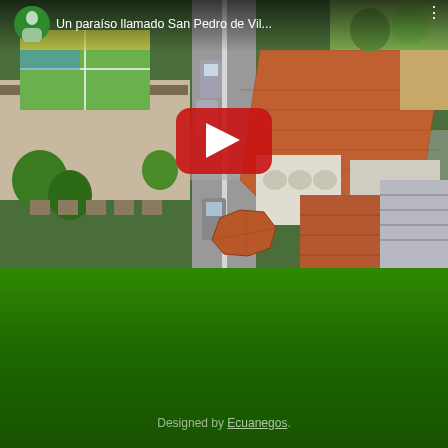[Figure (screenshot): YouTube video thumbnail showing an aerial drone view of San Pedro de Vilcabamba town, with a street intersection, tiled-roof buildings, and a colorful school building. A YouTube play button overlay and top bar showing title 'Un paraiso llamado San Pedro de Vil...' are visible.]
Designed by Ecuanegos.